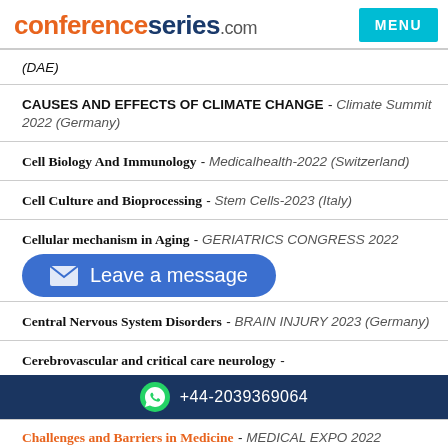conferenceseries.com | MENU
(DAE)
CAUSES AND EFFECTS OF CLIMATE CHANGE - Climate Summit 2022 (Germany)
Cell Biology And Immunology - Medicalhealth-2022 (Switzerland)
Cell Culture and Bioprocessing - Stem Cells-2023 (Italy)
Cellular mechanism in Aging - GERIATRICS CONGRESS 2022 (Germany)
[Figure (other): Blue rounded button overlay reading 'Leave a message' with email icon]
Central Nervous System Disorders - BRAIN INJURY 2023 (Germany)
Cerebrovascular and critical care neurology -
+44-2039369064
Challenges and Barriers in Medicine - MEDICAL EXPO 2022